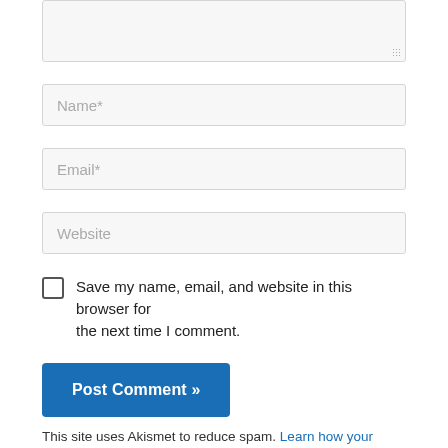[Figure (screenshot): Top portion of a textarea input field (comment box) with a resize handle in the bottom-right corner, partially cropped at top.]
Name*
Email*
Website
Save my name, email, and website in this browser for the next time I comment.
Post Comment »
This site uses Akismet to reduce spam. Learn how your